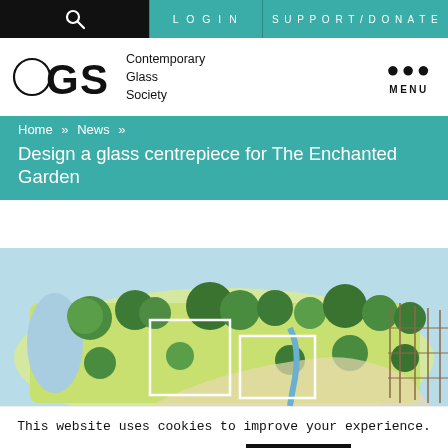LOGIN   SUPPORT/DONATE
[Figure (logo): Contemporary Glass Society logo with CGS letters and circle]
MENU
Home » News »
Design a glass centrepiece for The Enchanted Garden
[Figure (illustration): Aerial/plan view illustration of The Enchanted Garden showing trees, pathways, and landscaped areas with highlighted zones marked by white rectangles]
This website uses cookies to improve your experience.
Cookie settings
ACCEPT